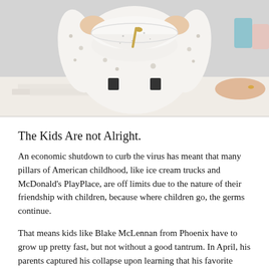[Figure (photo): A child in a white patterned long-sleeve shirt holding up a large white speckled ceramic bowl with a spoon inside it, at a white table with papers on it. An adult hand is visible on the right side. The background shows a light-colored wall and some items on a surface.]
The Kids Are not Alright.
An economic shutdown to curb the virus has meant that many pillars of American childhood, like ice cream trucks and McDonald's PlayPlace, are off limits due to the nature of their friendship with children, because where children go, the germs continue.
That means kids like Blake McLennan from Phoenix have to grow up pretty fast, but not without a good tantrum. In April, his parents captured his collapse upon learning that his favorite activities do not currently exist.
The three-minute video begins mid-speech as Blake sits